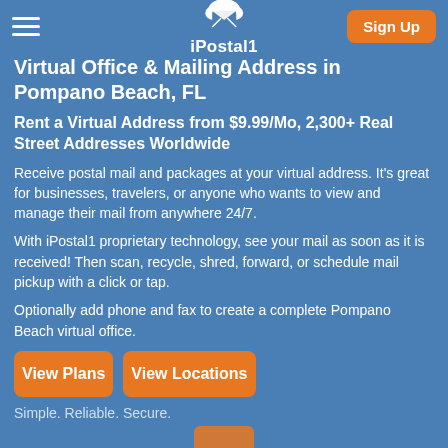iPostal1
Virtual Office & Mailing Address in Pompano Beach, FL
Rent a Virtual Address from $9.99/Mo, 2,300+ Real Street Addresses Worldwide
Receive postal mail and packages at your virtual address. It's great for businesses, travelers, or anyone who wants to view and manage their mail from anywhere 24/7.
With iPostal1 proprietary technology, see your mail as soon as it is received! Then scan, recycle, shred, forward, or schedule mail pickup with a click or tap.
Optionally add phone and fax to create a complete Pompano Beach virtual office.
View Plans
View Locations
Simple. Reliable. Secure.